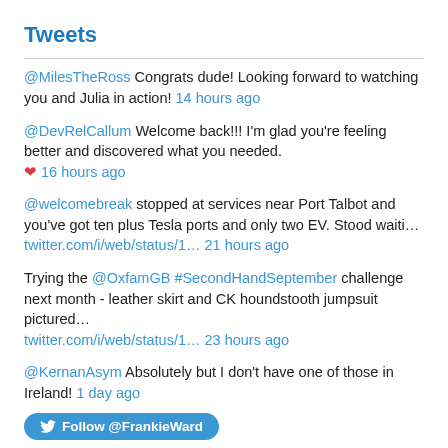Tweets
@MilesTheRoss Congrats dude! Looking forward to watching you and Julia in action! 14 hours ago
@DevRelCallum Welcome back!!! I'm glad you're feeling better and discovered what you needed. ❤ 16 hours ago
@welcomebreak stopped at services near Port Talbot and you've got ten plus Tesla ports and only two EV. Stood waiti… twitter.com/i/web/status/1… 21 hours ago
Trying the @OxfamGB #SecondHandSeptember challenge next month - leather skirt and CK houndstooth jumpsuit pictured… twitter.com/i/web/status/1… 23 hours ago
@KernanAsym Absolutely but I don't have one of those in Ireland! 1 day ago
Follow @FrankieWard